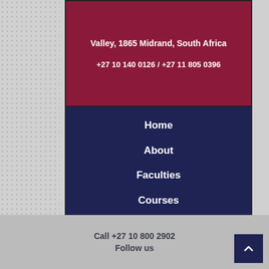Valley, 1865 Midrand, South Africa
+27 10 140 0126 / +27 11 805 0396
Home
About
Faculties
Courses
Matric
Contact
Call +27 10 800 2902
Follow us